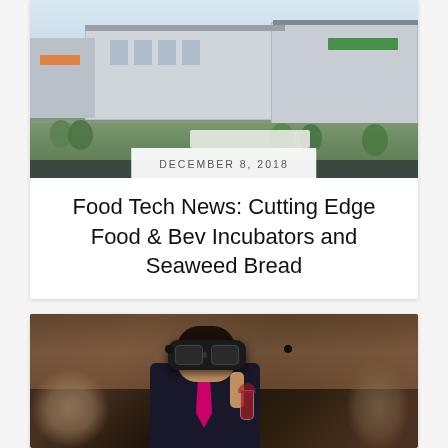[Figure (photo): Aerial rendering of a food and beverage incubator building complex with green trees and pedestrians]
DECEMBER 8, 2018
Food Tech News: Cutting Edge Food & Bev Incubators and Seaweed Bread
[Figure (photo): Person wearing a VR headset and holding a glass of red wine, dressed in a dark suit with a pink tie, in a restaurant setting]